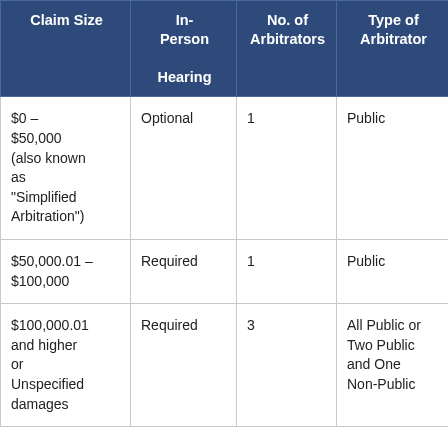| Claim Size | In-Person Hearing | No. of Arbitrators | Type of Arbitrator |
| --- | --- | --- | --- |
| $0 – $50,000 (also known as "Simplified Arbitration") | Optional | 1 | Public |
| $50,000.01 – $100,000 | Required | 1 | Public |
| $100,000.01 and higher or Unspecified damages | Required | 3 | All Public or Two Public and One Non-Public |